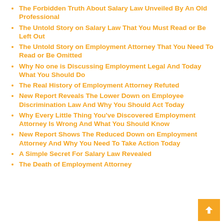The Forbidden Truth About Salary Law Unveiled By An Old Professional
The Untold Story on Salary Law That You Must Read or Be Left Out
The Untold Story on Employment Attorney That You Need To Read or Be Omitted
Why No one is Discussing Employment Legal And Today What You Should Do
The Real History of Employment Attorney Refuted
New Report Reveals The Lower Down on Employee Discrimination Law And Why You Should Act Today
Why Every Little Thing You've Discovered Employment Attorney Is Wrong And What You Should Know
New Report Shows The Reduced Down on Employment Attorney And Why You Need To Take Action Today
A Simple Secret For Salary Law Revealed
The Death of Employment Attorney